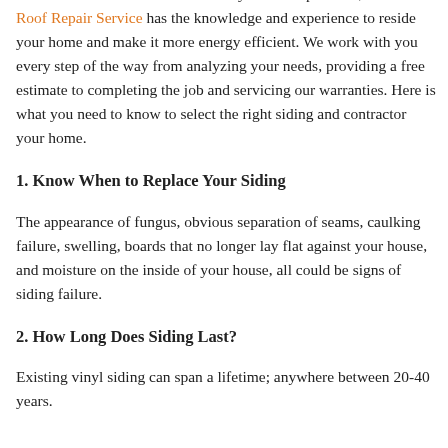service since 1984! With almost 30 years of experience, Dick's Roof Repair Service has the knowledge and experience to reside your home and make it more energy efficient. We work with you every step of the way from analyzing your needs, providing a free estimate to completing the job and servicing our warranties. Here is what you need to know to select the right siding and contractor your home.
1. Know When to Replace Your Siding
The appearance of fungus, obvious separation of seams, caulking failure, swelling, boards that no longer lay flat against your house, and moisture on the inside of your house, all could be signs of siding failure.
2. How Long Does Siding Last?
Existing vinyl siding can span a lifetime; anywhere between 20-40 years.